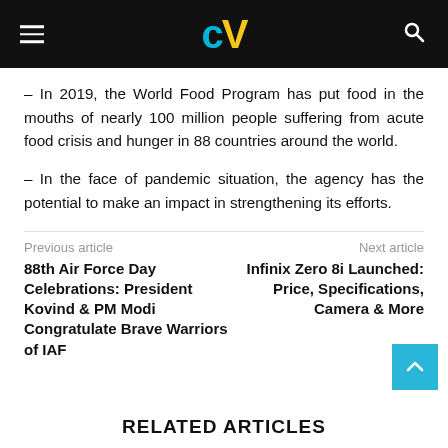CV
– In 2019, the World Food Program has put food in the mouths of nearly 100 million people suffering from acute food crisis and hunger in 88 countries around the world.
– In the face of pandemic situation, the agency has the potential to make an impact in strengthening its efforts.
Previous article
88th Air Force Day Celebrations: President Kovind & PM Modi Congratulate Brave Warriors of IAF
Next article
Infinix Zero 8i Launched: Price, Specifications, Camera & More
RELATED ARTICLES